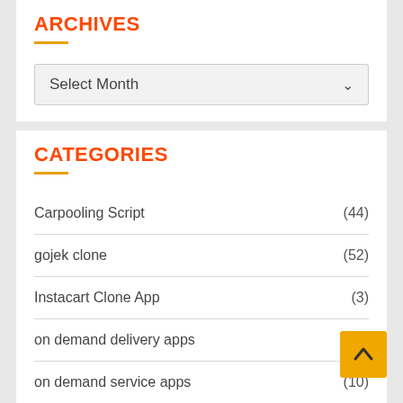ARCHIVES
Select Month
CATEGORIES
Carpooling Script (44)
gojek clone (52)
Instacart Clone App (3)
on demand delivery apps (56)
on demand service apps (10)
Reviews (8)